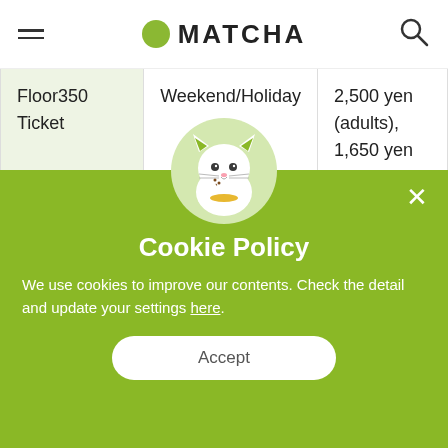MATCHA
| Ticket Type | Availability | Price |
| --- | --- | --- |
| Floor350 Ticket | Weekend/Holiday | 2,500 yen (adults), 1,650 yen (12-17 years), 1,000 yen (6-11 years) |
[Figure (illustration): Cookie policy popup overlay with green background, cat mascot illustration eating a cookie in a circular avatar, title 'Cookie Policy', descriptive text about cookies, and an Accept button.]
Cookie Policy
We use cookies to improve our contents. Check the detail and update your settings here.
Accept